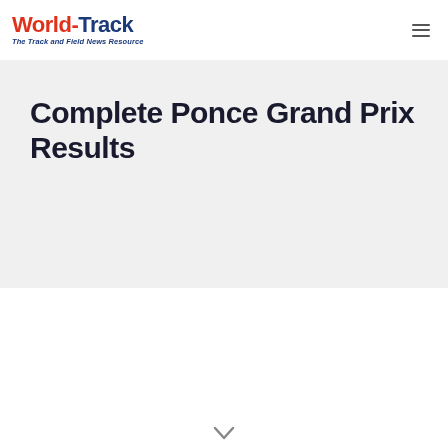World-Track — The Track and Field News Resource
Complete Ponce Grand Prix Results